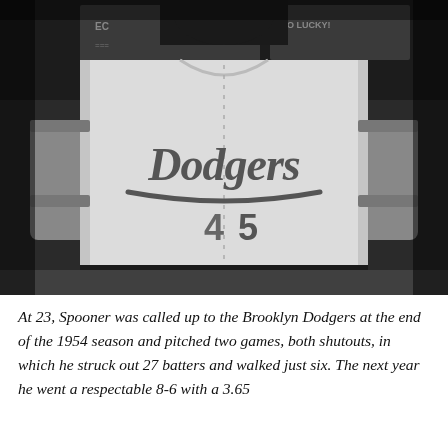[Figure (photo): Black and white photograph of a baseball player wearing a Brooklyn Dodgers uniform with the number 45, posed from the torso up. The player wears a white Dodgers jersey with cursive 'Dodgers' lettering and has a grey undershirt visible beneath. The background shows stadium signage.]
At 23, Spooner was called up to the Brooklyn Dodgers at the end of the 1954 season and pitched two games, both shutouts, in which he struck out 27 batters and walked just six. The next year he went a respectable 8-6 with a 3.65